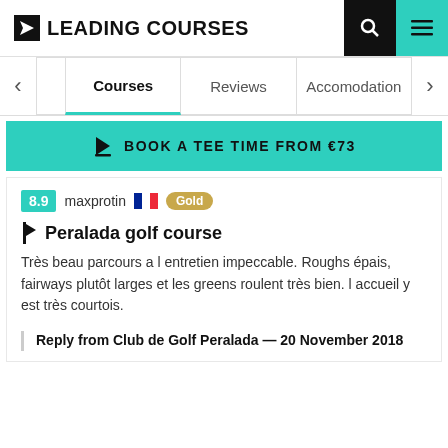[Figure (logo): Leading Courses logo with nav icons]
[Figure (screenshot): Navigation tabs: Courses (active), Reviews, Accomodation with left/right arrows]
BOOK A TEE TIME FROM €73
8.9  maxprotin  Gold
Peralada golf course
Très beau parcours a l entretien impeccable. Roughs épais, fairways plutôt larges et les greens roulent très bien. l accueil y est très courtois.
Reply from Club de Golf Peralada — 20 November 2018